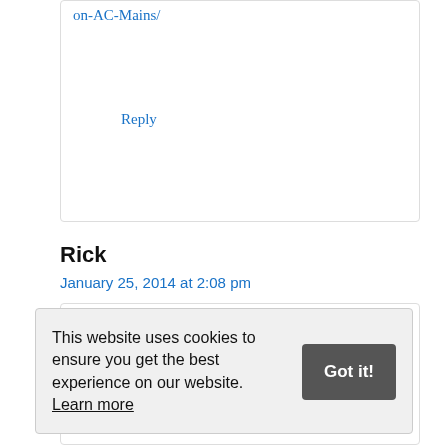on-AC-Mains/
Reply
Rick
January 25, 2014 at 2:08 pm
Been looking a bit more into this … In your diag you show the 4k7 1W resistor
This website uses cookies to ensure you get the best experience on our website. Learn more
You mention resistor is there for current